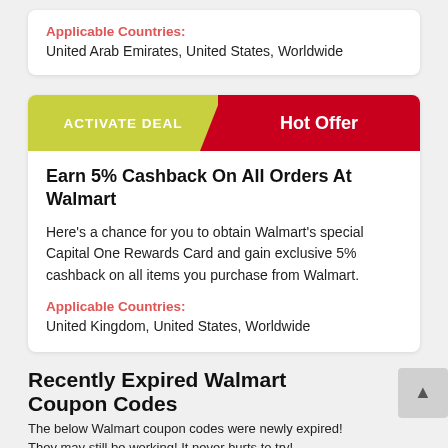Applicable Countries:
United Arab Emirates,  United States,  Worldwide
ACTIVATE DEAL
Hot Offer
Earn 5% Cashback On All Orders At Walmart
Here's a chance for you to obtain Walmart's special Capital One Rewards Card and gain exclusive 5% cashback on all items you purchase from Walmart.
Applicable Countries:
United Kingdom,  United States,  Worldwide
Recently Expired Walmart Coupon Codes
The below Walmart coupon codes were newly expired! They may still be working! It never hurts to try!